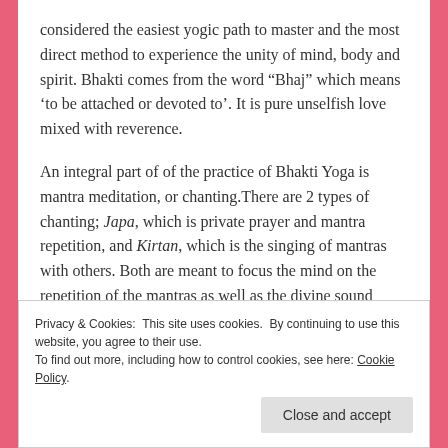considered the easiest yogic path to master and the most direct method to experience the unity of mind, body and spirit. Bhakti comes from the word “Bhaj” which means ‘to be attached or devoted to’. It is pure unselfish love mixed with reverence.
An integral part of of the practice of Bhakti Yoga is mantra meditation, or chanting.There are 2 types of chanting; Japa, which is private prayer and mantra repetition, and Kirtan, which is the singing of mantras with others. Both are meant to focus the mind on the repetition of the mantras as well as the divine sound vibration created. Practicing Bhakti has radically changed my life in a very positive way. You’ll find
Privacy & Cookies: This site uses cookies. By continuing to use this website, you agree to their use.
To find out more, including how to control cookies, see here: Cookie Policy